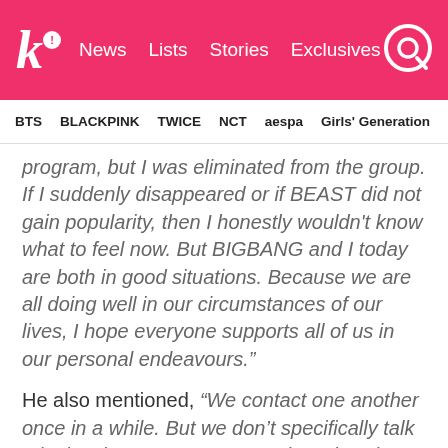Koreaboo | News  Lists  Stories  Exclusives
BTS  BLACKPINK  TWICE  NCT  aespa  Girls' Generation
program, but I was eliminated from the group. If I suddenly disappeared or if BEAST did not gain popularity, then I honestly wouldn't know what to feel now. But BIGBANG and I today are both in good situations. Because we are all doing well in our circumstances of our lives, I hope everyone supports all of us in our personal endeavours."
He also mentioned, “We contact one another once in a while. But we don’t specifically talk a lot just because we meet at broadcasting stations. That would be weirder… I’m glad that we are supporting one another."